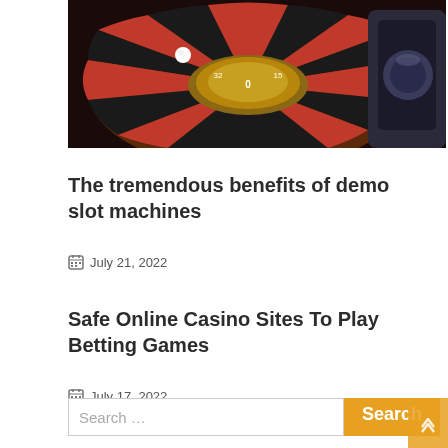[Figure (photo): Close-up photo of a casino roulette wheel with red and black sections, a white ball, and metallic chrome rim]
The tremendous benefits of demo slot machines
July 21, 2022
Safe Online Casino Sites To Play Betting Games
July 17, 2022